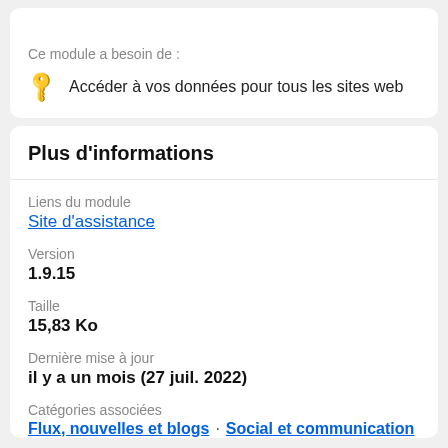Ce module a besoin de :
Accéder à vos données pour tous les sites web
Plus d'informations
Liens du module
Site d'assistance
Version
1.9.15
Taille
15,83 Ko
Dernière mise à jour
il y a un mois (27 juil. 2022)
Catégories associées
Flux, nouvelles et blogs · Social et communication